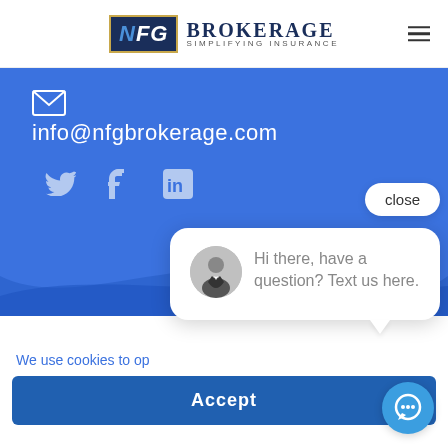[Figure (logo): NFG Brokerage logo with dark blue N badge and 'Brokerage - Simplifying Insurance' text and hamburger menu icon]
info@nfgbrokerage.com
[Figure (illustration): Social media icons: Twitter bird, Facebook f, LinkedIn in on blue background]
[Figure (screenshot): Chat popup with avatar of man in suit, text: Hi there, have a question? Text us here. Close button above.]
We use cookies to op
Accept